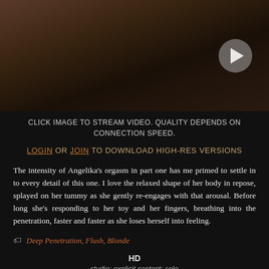[Figure (photo): Video thumbnail showing a reclining figure on a bed with a play button overlay in the lower right]
CLICK IMAGE TO STREAM VIDEO. QUALITY DEPENDS ON CONNECTION SPEED.
LOGIN OR JOIN TO DOWNLOAD HIGH-RES VERSIONS
The intensity of Angelika's orgasm in part one has me primed to settle in to every detail of this one. I love the relaxed shape of her body in repose, splayed on her tummy as she gently re-engages with that arousal. Before long she's responding to her toy and her fingers, breathing into the penetration, faster and faster as she loses herself into feeling.
Deep Penetration, Flush, Blonde
HD
studio; explicit content; solo
HENNA AND LILY VIDEO DIARY 4 BY HENNA